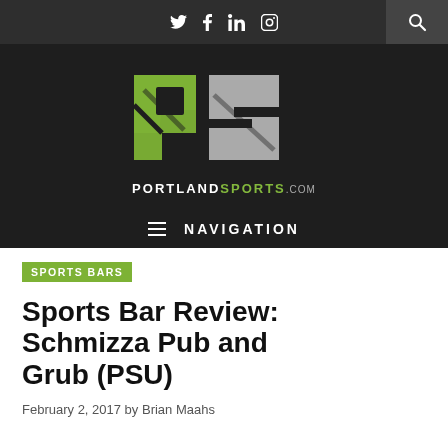[Figure (logo): PortlandSports.com website header with social icons (Twitter, Facebook, LinkedIn, Instagram) and search icon on dark background]
[Figure (logo): PortlandSports.com logo: large PS monogram in green and gray, with PORTLANDSPORTS.com text below, on dark background]
NAVIGATION
SPORTS BARS
Sports Bar Review: Schmizza Pub and Grub (PSU)
February 2, 2017 by Brian Maahs